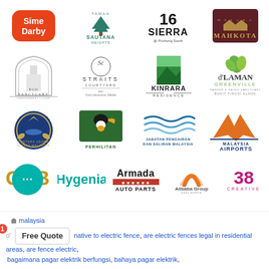[Figure (logo): Row of logos: Sime Darby (red/orange rounded square), Taman Sautana Heights Bukit Katil Melaka (tree logo), 16 Sierra @ Puchong South (bold text), Mahkota (dark maroon badge logo)]
[Figure (logo): Row of logos: Eco Sanctuary (gothic arch illustration), Straits Courtyard Kota Laksamana Melaka (minimalist circle S logo), Kinrara Residence (green rectangle with landscape), d'Laman Greenville Bukit Tinggi Klang (green leaf logo)]
[Figure (logo): Row of logos: Malaysian Air Force / TUDM (royal blue circular badge), Perhilitan (toucan bird green background), Jabatan Pengairan Dan Saliran Malaysia (blue water waves), Malaysia Airports (orange/navy aircraft icon)]
[Figure (logo): Row of logos: GPB (golden letters), Hygenia (teal text), Armada Auto Parts (black/red), Alibaba Group Malaysia (orange A letter), 38 Creative (magenta/pink numbers)]
malaysia
Free Quote   native to electric fence, are electric fences legal in residential areas, are fence electric, bagaimana pagar elektrik berfungsi, bahaya pagar elektrik,